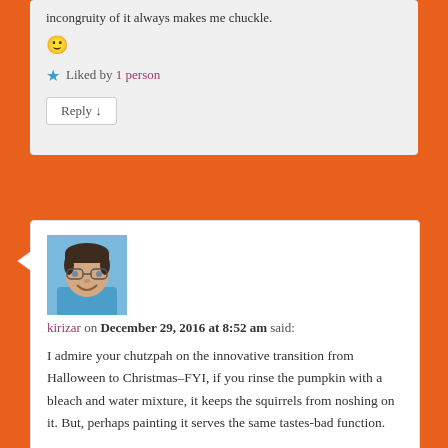incongruity of it always makes me chuckle. 🙂
★ Liked by 1 person
Reply ↓
[Figure (photo): Avatar photo of kirizar, a woman with short dark hair and glasses, smiling, wearing a blue top]
kirizar on December 29, 2016 at 8:52 am said:
I admire your chutzpah on the innovative transition from Halloween to Christmas–FYI, if you rinse the pumpkin with a bleach and water mixture, it keeps the squirrels from noshing on it. But, perhaps painting it serves the same tastes-bad function.
★ Liked by 1 person